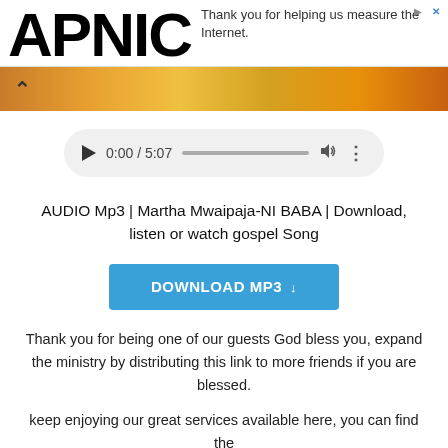APNIC | Thank you for helping us measure the Internet.
[Figure (photo): Colorful banner image strip with orange and yellow tones, partially visible, with a chevron/up arrow icon on the left]
[Figure (screenshot): Audio player widget showing play button, time 0:00 / 5:07, progress bar, volume icon, and more options icon, on a light grey rounded rectangle background]
AUDIO Mp3 | Martha Mwaipaja-NI BABA | Download, listen or watch gospel Song
DOWNLOAD MP3 ↓
Thank you for being one of our guests God bless you, expand the ministry by distributing this link to more friends if you are blessed.
keep enjoying our great services available here, you can find the